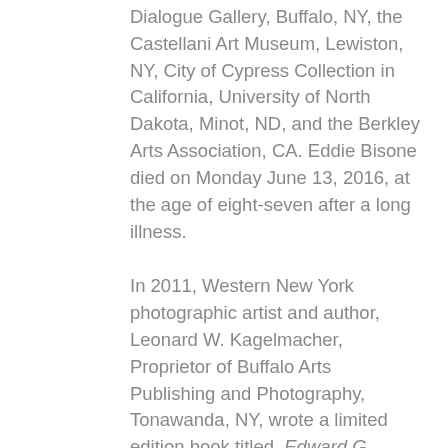Dialogue Gallery, Buffalo, NY, the Castellani Art Museum, Lewiston, NY, City of Cypress Collection in California, University of North Dakota, Minot, ND, and the Berkley Arts Association, CA. Eddie Bisone died on Monday June 13, 2016, at the age of eight-seven after a long illness.
In 2011, Western New York photographic artist and author, Leonard W. Kagelmacher, Proprietor of Buffalo Arts Publishing and Photography, Tonawanda, NY, wrote a limited edition book titled, Edward G. Bisone: Selected Works. The book features over 200 images of paintings, drawings, and collages created by Bisone over 45 years. The book...